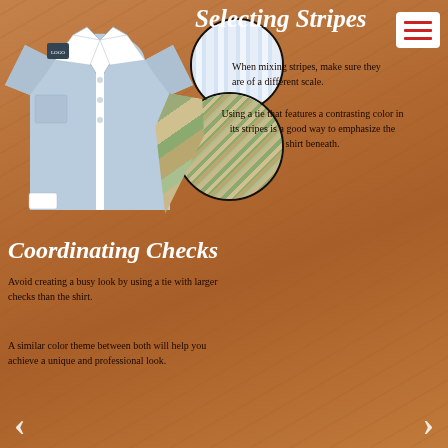Selecting Stripes
When mixing stripes, make sure they are of a different scale.
Using a tie that features a contrasting color in its stripes is a good way to emphasize the shirt beneath.
[Figure (photo): Light blue dress shirt, a green striped tie, a close-up circle of blue pinstripes fabric, and a close-up circle of green striped tie fabric]
Coordinating Checks
Avoid creating a busy look by using a tie with larger checks than the shirt.
A similar color theme between both will help you achieve a unique and professional look.
[Figure (photo): White plaid/check dress shirt, a dark plaid tie, a close-up circle of large check shirt fabric, and a close-up circle of dark plaid tie fabric]